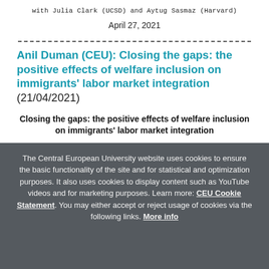with Julia Clark (UCSD) and Aytug Sasmaz (Harvard)
April 27, 2021
Anil Duman (CEU): Closing the gaps: the positive effects of welfare inclusion on immigrants' labor market integration (21/04/2021)
Closing the gaps: the positive effects of welfare inclusion on immigrants' labor market integration
The Central European University website uses cookies to ensure the basic functionality of the site and for statistical and optimization purposes. It also uses cookies to display content such as YouTube videos and for marketing purposes. Learn more: CEU Cookie Statement. You may either accept or reject usage of cookies via the following links. More info